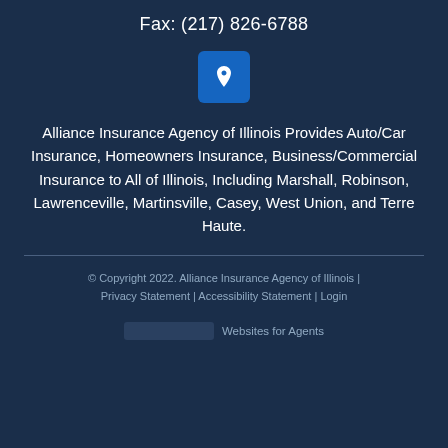Fax: (217) 826-6788
[Figure (illustration): Location pin icon in a blue rounded square]
Alliance Insurance Agency of Illinois Provides Auto/Car Insurance, Homeowners Insurance, Business/Commercial Insurance to All of Illinois, Including Marshall, Robinson, Lawrenceville, Martinsville, Casey, West Union, and Terre Haute.
© Copyright 2022. Alliance Insurance Agency of Illinois | Privacy Statement | Accessibility Statement | Login
Websites for Agents